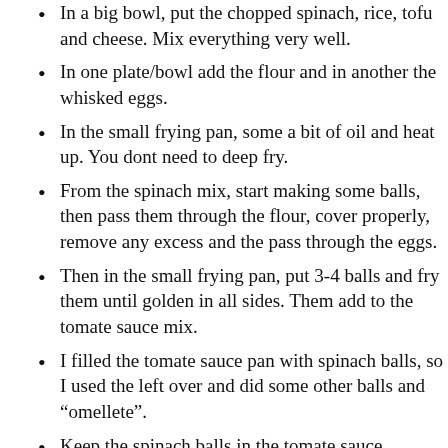In a big bowl, put the chopped spinach, rice, tofu and cheese. Mix everything very well.
In one plate/bowl add the flour and in another the whisked eggs.
In the small frying pan, some a bit of oil and heat up. You dont need to deep fry.
From the spinach mix, start making some balls, then pass them through the flour, cover properly, remove any excess and the pass through the eggs.
Then in the small frying pan, put 3-4 balls and fry them until golden in all sides. Them add to the tomate sauce mix.
I filled the tomate sauce pan with spinach balls, so I used the left over and did some other balls and “omellete”.
Keep the spinach balls in the tomate sauce